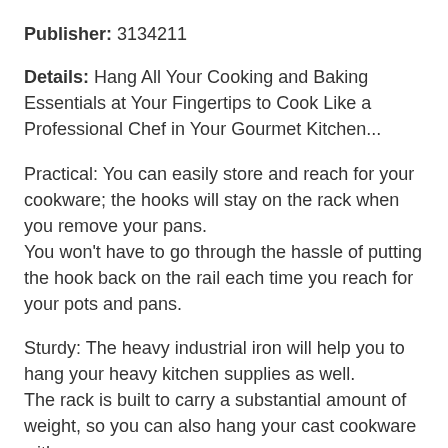Publisher: 3134211
Details: Hang All Your Cooking and Baking Essentials at Your Fingertips to Cook Like a Professional Chef in Your Gourmet Kitchen...
Practical: You can easily store and reach for your cookware; the hooks will stay on the rack when you remove your pans.
You won't have to go through the hassle of putting the hook back on the rail each time you reach for your pots and pans.
Sturdy: The heavy industrial iron will help you to hang your heavy kitchen supplies as well.
The rack is built to carry a substantial amount of weight, so you can also hang your cast cookware with